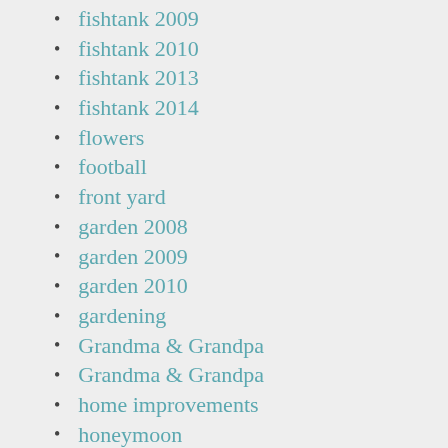fishtank 2009
fishtank 2010
fishtank 2013
fishtank 2014
flowers
football
front yard
garden 2008
garden 2009
garden 2010
gardening
Grandma & Grandpa
Grandma & Grandpa
home improvements
honeymoon
house
Isabella